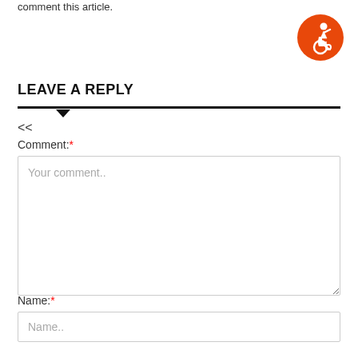comment this article.
[Figure (illustration): Orange circular accessibility icon with a wheelchair user figure in white]
LEAVE A REPLY
<<
Comment:*
Your comment..
Name:*
Name..